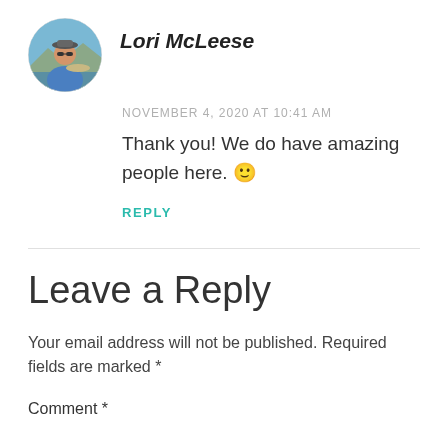[Figure (photo): Circular avatar photo of Lori McLeese showing a person outdoors holding a fish, wearing a blue shirt and sunglasses]
Lori McLeese
NOVEMBER 4, 2020 AT 10:41 AM
Thank you! We do have amazing people here. 🙂
REPLY
Leave a Reply
Your email address will not be published. Required fields are marked *
Comment *